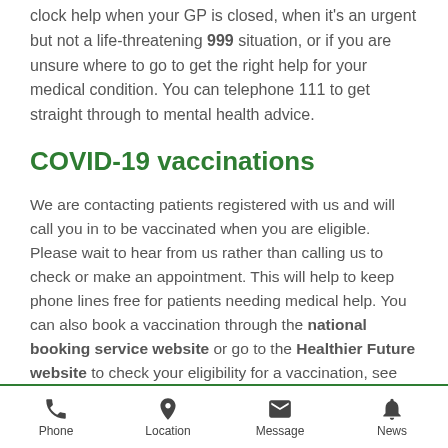clock help when your GP is closed, when it's an urgent but not a life-threatening 999 situation, or if you are unsure where to go to get the right help for your medical condition. You can telephone 111 to get straight through to mental health advice.
COVID-19 vaccinations
We are contacting patients registered with us and will call you in to be vaccinated when you are eligible. Please wait to hear from us rather than calling us to check or make an appointment. This will help to keep phone lines free for patients needing medical help. You can also book a vaccination through the national booking service website or go to the Healthier Future website to check your eligibility for a vaccination, see
Phone  Location  Message  News